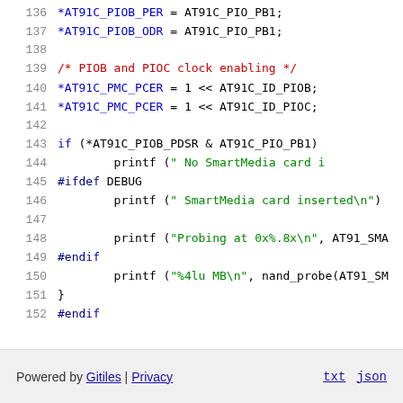Code listing lines 136-152: C source code with syntax highlighting showing AT91C microcontroller register operations, PIOB/PIOC clock enabling, SmartMedia card detection, and debug printf statements.
Powered by Gitiles | Privacy   txt  json